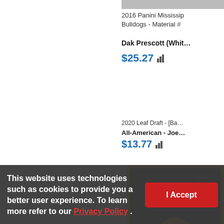[Figure (screenshot): Partial screenshot of a trading card marketplace website showing two football card listings. Top listing: 2016 Panini Mississippi Bulldogs Material card for Dak Prescott priced at $25.27. Bottom listing: 2020 Leaf Draft All-American Joe Burrow card priced at $13.77. A cookie consent banner overlays the bottom of the page.]
2016 Panini Mississippi Bulldogs - Material #
Dak Prescott (White)
$25.27
2020 Leaf Draft - [Ba... All-American - Joe...
$13.77
This website uses technologies such as cookies to provide you a better user experience. To learn more refer to our Privacy Policy .